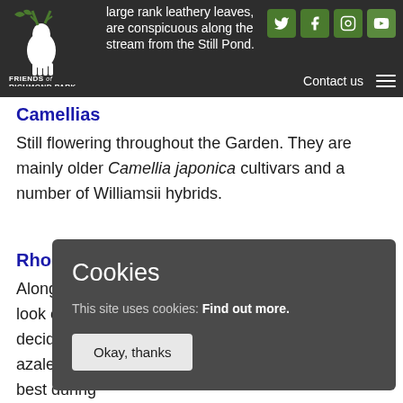Friends of Richmond Park — navigation bar with social icons and Contact us
large rank leathery leaves, are conspicuous along the stream from the Still Pond.
Camellias
Still flowering throughout the Garden. They are mainly older Camellia japonica cultivars and a number of Williamsii hybrids.
Rhododendrons
Along the B... look out fo... deciduous a... azaleas sta... best during... week of Ma... from the St... bears pale to bright pink flowers. Rhododendron
[Figure (screenshot): Cookie consent modal overlay with dark grey background showing title 'Cookies', body text 'This site uses cookies: Find out more.' and an 'Okay, thanks' button]